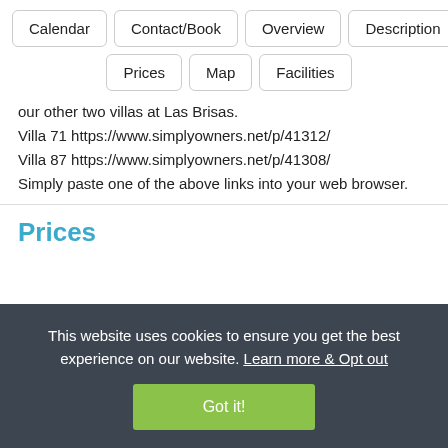Calendar
Contact/Book
Overview
Description
Prices
Map
Facilities
our other two villas at Las Brisas.
Villa 71 https://www.simplyowners.net/p/41312/
Villa 87 https://www.simplyowners.net/p/41308/
Simply paste one of the above links into your web browser.
Prices
This website uses cookies to ensure you get the best experience on our website. Learn more & Opt out
Got it!